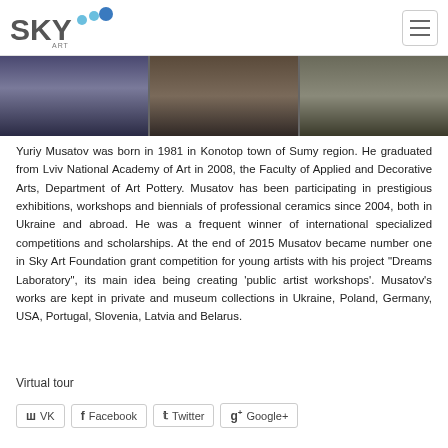SKY ART FOUNDATION (logo) — navigation bar
[Figure (photo): Three cropped photos showing partial views of people and artworks in an exhibition or workshop setting]
Yuriy Musatov was born in 1981 in Konotop town of Sumy region. He graduated from Lviv National Academy of Art in 2008, the Faculty of Applied and Decorative Arts, Department of Art Pottery. Musatov has been participating in prestigious exhibitions, workshops and biennials of professional ceramics since 2004, both in Ukraine and abroad. He was a frequent winner of international specialized competitions and scholarships. At the end of 2015 Musatov became number one in Sky Art Foundation grant competition for young artists with his project "Dreams Laboratory", its main idea being creating 'public artist workshops'. Musatov's works are kept in private and museum collections in Ukraine, Poland, Germany, USA, Portugal, Slovenia, Latvia and Belarus.
Virtual tour
VK
Facebook
Twitter
Google+